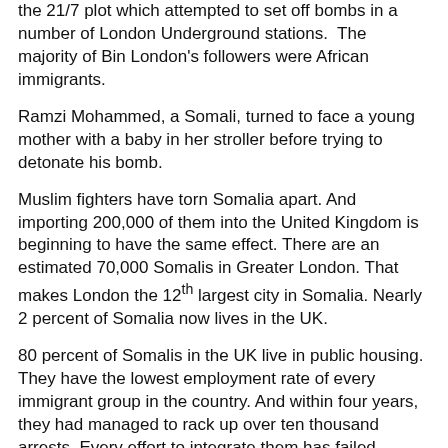the 21/7 plot which attempted to set off bombs in a number of London Underground stations. The majority of Bin London's followers were African immigrants.
Ramzi Mohammed, a Somali, turned to face a young mother with a baby in her stroller before trying to detonate his bomb.
Muslim fighters have torn Somalia apart. And importing 200,000 of them into the United Kingdom is beginning to have the same effect. There are an estimated 70,000 Somalis in Greater London. That makes London the 12th largest city in Somalia. Nearly 2 percent of Somalia now lives in the UK.
80 percent of Somalis in the UK live in public housing. They have the lowest employment rate of every immigrant group in the country. And within four years, they had managed to rack up over ten thousand arrests. Every effort to integrate them has failed. Rather than the Somalis becoming British, shards of Britain have become little Mogadishus.
[Figure (photo): Partial photo visible at bottom of page]